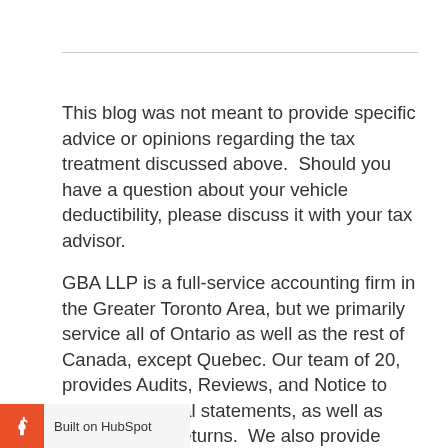This blog was not meant to provide specific advice or opinions regarding the tax treatment discussed above.  Should you have a question about your vehicle deductibility, please discuss it with your tax advisor.
GBA LLP is a full-service accounting firm in the Greater Toronto Area, but we primarily service all of Ontario as well as the rest of Canada, except Quebec. Our team of 20, provides Audits, Reviews, and Notice to Reader financial statements, as well as corporate tax returns.  We also provide specialized corporate tax and succession planning …edium business, as well as some